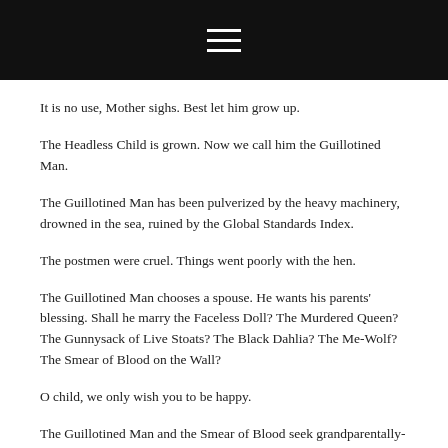☰
It is no use, Mother sighs. Best let him grow up.
The Headless Child is grown. Now we call him the Guillotined Man.
The Guillotined Man has been pulverized by the heavy machinery, drowned in the sea, ruined by the Global Standards Index.
The postmen were cruel. Things went poorly with the hen.
The Guillotined Man chooses a spouse. He wants his parents' blessing. Shall he marry the Faceless Doll? The Murdered Queen? The Gunnysack of Live Stoats? The Black Dahlia? The Me-Wolf? The Smear of Blood on the Wall?
O child, we only wish you to be happy.
The Guillotined Man and the Smear of Blood seek grandparentally-